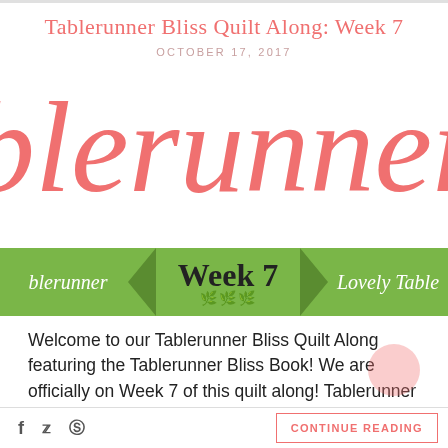Tablerunner Bliss Quilt Along: Week 7
OCTOBER 17, 2017
[Figure (illustration): Large decorative script text reading 'blerunner Bl' in coral/salmon color, cropped banner image]
[Figure (infographic): Green banner with left text 'blerunner', center area with 'Week 7' in hand-lettered script with leaf decoration, right text 'Lovely Table', and arrow/chevron shapes on sides]
Welcome to our Tablerunner Bliss Quilt Along featuring the Tablerunner Bliss Book! We are officially on Week 7 of this quilt along! Tablerunner Bliss is  by Sherri Falls of This & That Pattern Company and features 20 gorgeous tablerunners for a stylish home. Every time [...]
f  t  p  |  CONTINUE READING